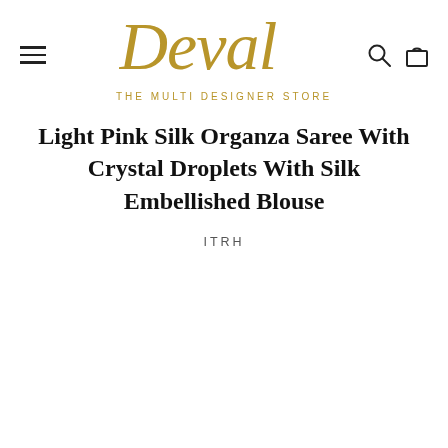[Figure (logo): Deval - The Multi Designer Store logo in gold/bronze color with decorative script font]
Light Pink Silk Organza Saree With Crystal Droplets With Silk Embellished Blouse
ITRH